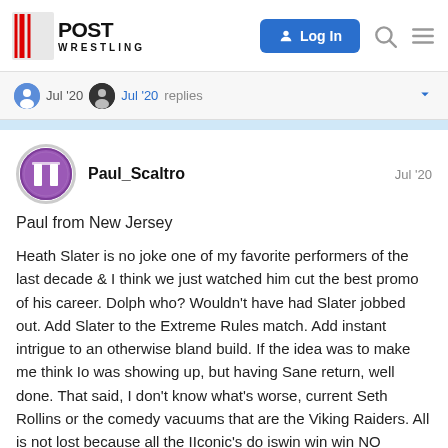POST Wrestling — Log In
Jul '20  Jul '20  replies
Paul_Scaltro   Jul '20
Paul from New Jersey
Heath Slater is no joke one of my favorite performers of the last decade & I think we just watched him cut the best promo of his career. Dolph who? Wouldn't have had Slater jobbed out. Add Slater to the Extreme Rules match. Add instant intrigue to an otherwise bland build. If the idea was to make me think Io was showing up, but having Sane return, well done. That said, I don't know what's worse, current Seth Rollins or the comedy vacuums that are the Viking Raiders. All is not lost because all the IIconic's do iswin win win NO MATTA WHAT! Heath Slater & The IIconic's. Who needs Okada? A 37year old Fast Times reference & now a 23 Year old Austin Powers quip. Getting